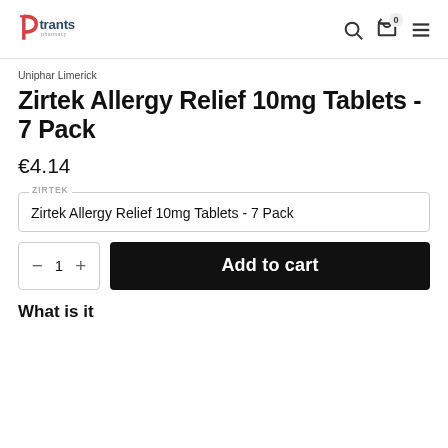Trants Pharmacy
Uniphar Limerick
Zirtek Allergy Relief 10mg Tablets - 7 Pack
€4.14
ZIRTEK
Zirtek Allergy Relief 10mg Tablets - 7 Pack
− 1 + Add to cart
What is it